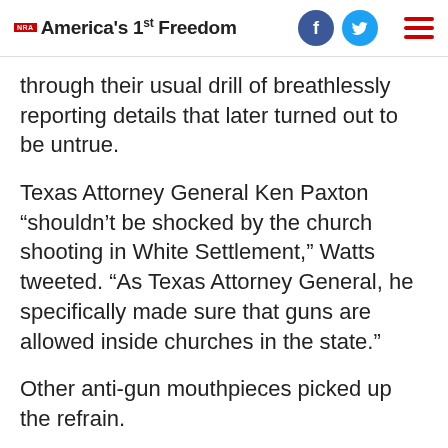NRA America's 1st Freedom
through their usual drill of breathlessly reporting details that later turned out to be untrue.
Texas Attorney General Ken Paxton “shouldn’t be shocked by the church shooting in White Settlement,” Watts tweeted. “As Texas Attorney General, he specifically made sure that guns are allowed inside churches in the state.”
Other anti-gun mouthpieces picked up the refrain.
The Washington Post published an editorial in which it blamed the “irrational permissiveness” of gun laws in America and Texas for the tragedy. “Instead of turning churches and schools into armed camps,” the